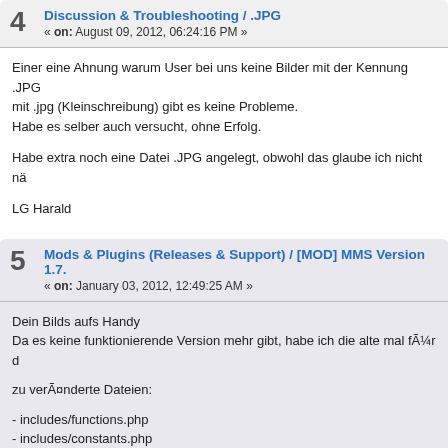Discussion & Troubleshooting / .JPG
« on: August 09, 2012, 06:24:16 PM »
Einer eine Ahnung warum User bei uns keine Bilder mit der Kennung .JPG mit .jpg (Kleinschreibung) gibt es keine Probleme.
Habe es selber auch versucht, ohne Erfolg.
Habe extra noch eine Datei .JPG angelegt, obwohl das glaube ich nicht nä
LG Harald
Mods & Plugins (Releases & Support) / [MOD] MMS Version 1.7.
« on: January 03, 2012, 12:49:25 AM »
Dein Bilds aufs Handy
Da es keine funktionierende Version mehr gibt, habe ich die alte mal fÃ¼r d
zu verÃ¤nderte Dateien:
- includes/functions.php
- includes/constants.php
- templates/details.html
- lang/main.php
Neue Dateien: